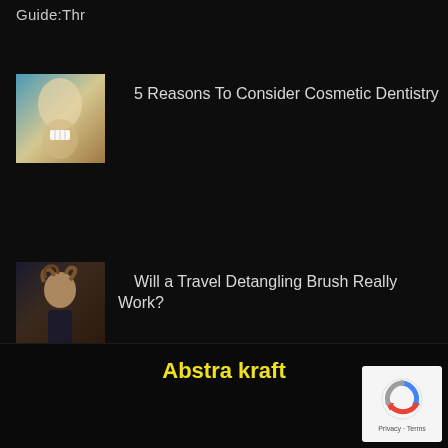Guide: Thr
[Figure (photo): Close-up of a woman with mouth open, dental/teeth imagery with teal tones]
5 Reasons To Consider Cosmetic Dentistry
[Figure (photo): Woman with curly hair styling, dark background]
Will a Travel Detangling Brush Really Work?
Abstra kraft
[Figure (logo): reCAPTCHA logo with Privacy - Terms text]